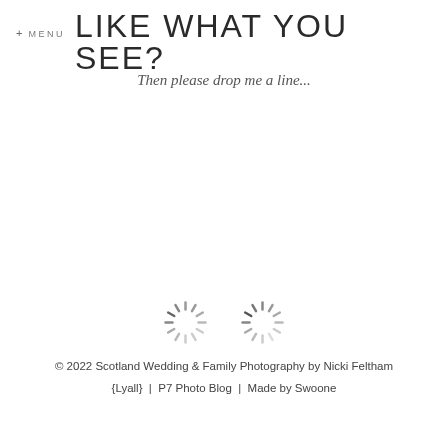+ MENU  LIKE WHAT YOU SEE?
Then please drop me a line...
[Figure (other): Two loading spinner / activity indicator icons side by side]
© 2022 Scotland Wedding & Family Photography by Nicki Feltham {Lyall}  |  P7 Photo Blog  |  Made by Swoone